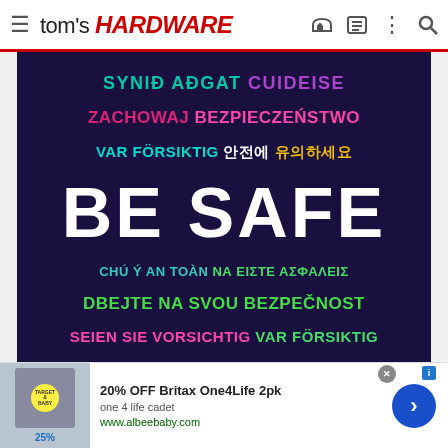tom's HARDWARE
[Figure (illustration): Dark navy background with multilingual 'BE SAFE' text. Lines include: SYNIÐ AÐGAT CUIDEISE (teal/purple), ZACHOWAJ BEZPIECZEŃSTWO (green), VAR FÖRSIKTIG 안전에 유의하세요 (cyan/white/yellow), BE SAFE (large white), CHÚ Ý AN TOÀN NA ΕΙΣΤΕ ΑΣΦΑΛΕΙΣ (cyan/green), DBEJTE NA SVOU BEZPEČNOST (green), SEIEN SIE VORSICHTIG VAR FÖRSIKTIG (pink/green)]
[Figure (advertisement): Best Buy ad with blue background. Text: Save up to $300. Shows a laptop/tablet screen with PowerPoint and 'Gestural Robotics' content.]
20% OFF Britax One4Life 2pk
one 4 life cadet
www.albeebaby.com